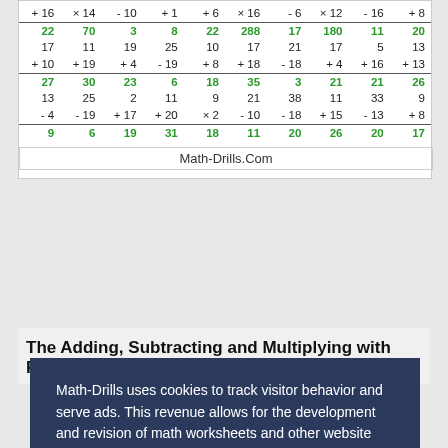| +16 | ×14 | -10 | +1 | +6 | ×16 | -6 | ×12 | -16 | +8 |
| 22 | 70 | 3 | 8 | 22 | 288 | 17 | 180 | 11 | 20 |
| 17 | 11 | 19 | 25 | 10 | 17 | 21 | 17 | 5 | 13 |
| +10 | +19 | +4 | -19 | +8 | +18 | -18 | +4 | +16 | +13 |
| 27 | 30 | 23 | 6 | 18 | 35 | 3 | 21 | 21 | 26 |
| 13 | 25 | 2 | 11 | 9 | 21 | 38 | 11 | 33 | 9 |
| -4 | -19 | +17 | +20 | ×2 | -10 | -18 | +15 | -13 | +8 |
| 9 | 6 | 19 | 31 | 18 | 11 | 20 | 26 | 20 | 17 |
Math-Drills.Com
The Adding, Subtracting and Multiplying with Facts
Math-Drills uses cookies to track visitor behavior and serve ads. This revenue allows for the development and revision of math worksheets and other website features.
Privacy and Cookies Policy
Decline
Allow All Cookies